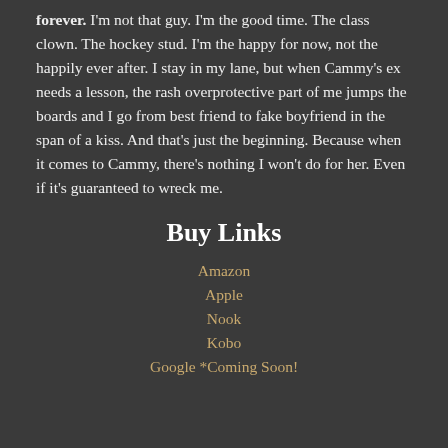forever. I'm not that guy. I'm the good time. The class clown. The hockey stud. I'm the happy for now, not the happily ever after. I stay in my lane, but when Cammy's ex needs a lesson, the rash overprotective part of me jumps the boards and I go from best friend to fake boyfriend in the span of a kiss. And that's just the beginning. Because when it comes to Cammy, there's nothing I won't do for her. Even if it's guaranteed to wreck me.
Buy Links
Amazon
Apple
Nook
Kobo
Google *Coming Soon!